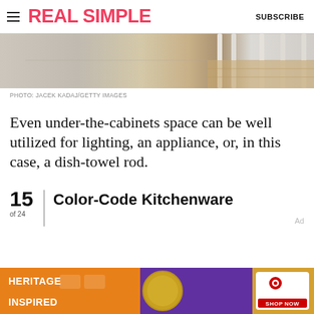REAL SIMPLE  SUBSCRIBE
[Figure (photo): Cropped kitchen photo showing floor tiles and chair/table legs, light wood and tile tones]
PHOTO: JACEK KADAJ/GETTY IMAGES
Even under-the-cabinets space can be well utilized for lighting, an appliance, or, in this case, a dish-towel rod.
15 of 24  Color-Code Kitchenware
[Figure (illustration): Heritage Inspired ad banner with Target branding and Shop Now button]